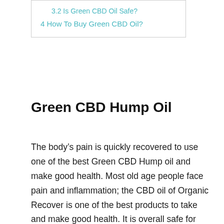3.2 Is Green CBD Oil Safe?
4 How To Buy Green CBD Oil?
Green CBD Hump Oil
The body’s pain is quickly recovered to use one of the best Green CBD Hump oil and make good health. Most old age people face pain and inflammation; the CBD oil of Organic Recover is one of the best products to take and make good health. It is overall safe for use and also suitable made with its true power. Moreover, this is good to boost up mental health with its full active health functions. Overall, CBD oil is better than all other products to make functional health.